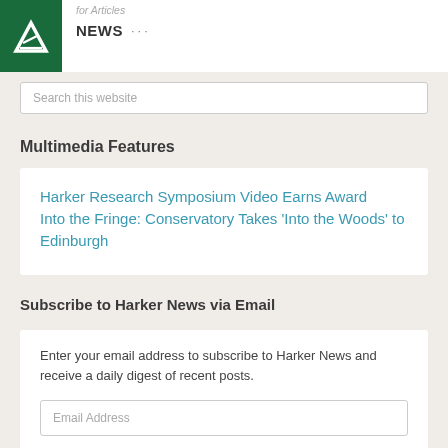for Articles / NEWS ...
Search this website
Multimedia Features
Harker Research Symposium Video Earns Award Into the Fringe: Conservatory Takes ‘Into the Woods’ to Edinburgh
Subscribe to Harker News via Email
Enter your email address to subscribe to Harker News and receive a daily digest of recent posts.
Email Address